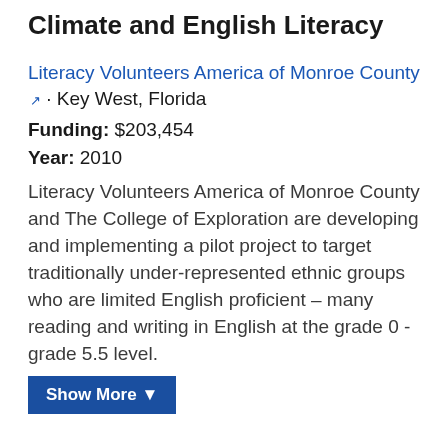Climate and English Literacy
Literacy Volunteers America of Monroe County · Key West, Florida
Funding: $203,454
Year: 2010
Literacy Volunteers America of Monroe County and The College of Exploration are developing and implementing a pilot project to target traditionally under-represented ethnic groups who are limited English proficient – many reading and writing in English at the grade 0 - grade 5.5 level.
Show More ▼